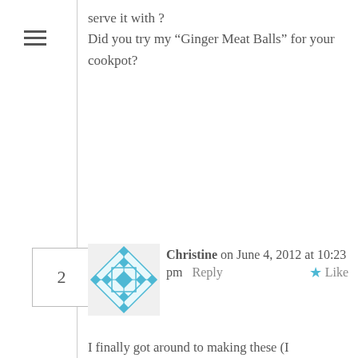serve it with ?
Did you try my “Ginger Meat Balls” for your cookpot?
Christine on June 4, 2012 at 10:23 pm   Reply   ★ Like
I finally got around to making these (I bookmarked this recipe when I was nursing a 5-week-old, and only just felt able to do a fried patty dish). I added turmeric as well, because it goes so well with lentils. This is amazing, they stick together better than with egg, and I prefer the taste too. I never would have thought that vegan patties could be done.